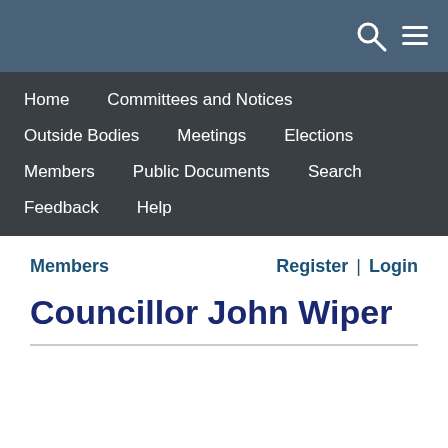Home   Committees and Notices
Outside Bodies   Meetings   Elections
Members   Public Documents   Search
Feedback   Help
Members   Register  |  Login
Councillor John Wiper